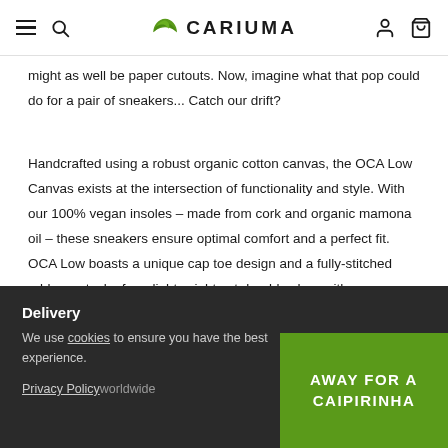CARIUMA
might as well be paper cutouts. Now, imagine what that pop could do for a pair of sneakers... Catch our drift?
Handcrafted using a robust organic cotton canvas, the OCA Low Canvas exists at the intersection of functionality and style. With our 100% vegan insoles – made from cork and organic mamona oil – these sneakers ensure optimal comfort and a perfect fit. OCA Low boasts a unique cap toe design and a fully-stitched rubber outsole, for a lightweight yet durable shoe with an extended lifespan.
Product Specifications ∨
Delivery
We use cookies to ensure you have the best experience.
Privacy Policy
worldwide
AWAY FOR A CAIPIRINHA